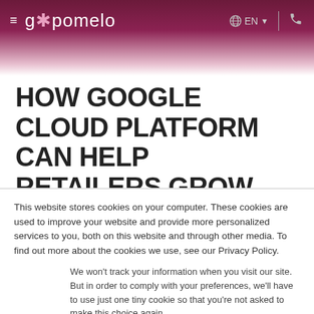gopomelo — EN (language selector) | phone icon
HOW GOOGLE CLOUD PLATFORM CAN HELP RETAILERS GROW THEIR BUSINESS
This website stores cookies on your computer. These cookies are used to improve your website and provide more personalized services to you, both on this website and through other media. To find out more about the cookies we use, see our Privacy Policy.
We won't track your information when you visit our site. But in order to comply with your preferences, we'll have to use just one tiny cookie so that you're not asked to make this choice again.
Cookie settings  Accept  Decline